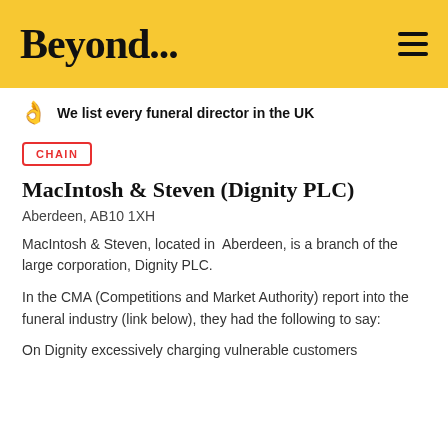Beyond...
We list every funeral director in the UK
CHAIN
MacIntosh & Steven (Dignity PLC)
Aberdeen, AB10 1XH
MacIntosh & Steven, located in  Aberdeen, is a branch of the large corporation, Dignity PLC.
In the CMA (Competitions and Market Authority) report into the funeral industry (link below), they had the following to say:
On Dignity excessively charging vulnerable customers